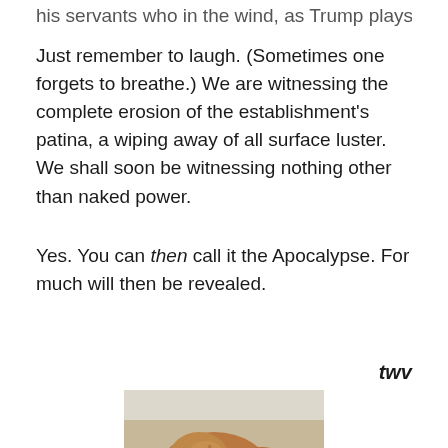his servants who in the wind, as Trump plays them.
Just remember to laugh. (Sometimes one forgets to breathe.) We are witnessing the complete erosion of the establishment's patina, a wiping away of all surface luster. We shall soon be witnessing nothing other than naked power.
Yes. You can then call it the Apocalypse. For much will then be revealed.
twv
[Figure (photo): A brown clay or ceramic sculpture of a crouched human figure, curled inward with head down, viewed from above/side against a light background.]